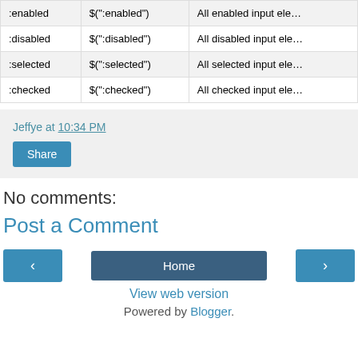| Selector | Example | Description |
| --- | --- | --- |
| :enabled | $(":enabled") | All enabled input ele… |
| :disabled | $(":disabled") | All disabled input ele… |
| :selected | $(":selected") | All selected input ele… |
| :checked | $(":checked") | All checked input ele… |
Jeffye at 10:34 PM
Share
No comments:
Post a Comment
‹
Home
›
View web version
Powered by Blogger.